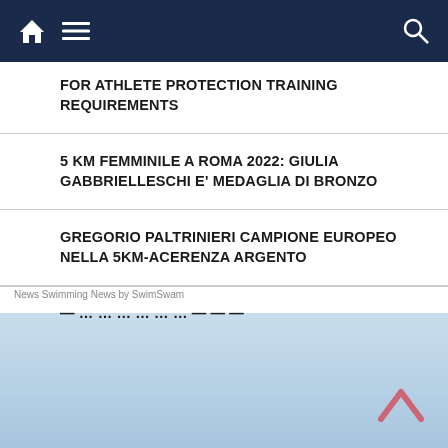Navigation bar with home icon, menu icon, and search icon
FOR ATHLETE PROTECTION TRAINING REQUIREMENTS
5 KM FEMMINILE A ROMA 2022: GIULIA GABBRIELLESCHI E' MEDAGLIA DI BRONZO
GREGORIO PALTRINIERI CAMPIONE EUROPEO NELLA 5KM-ACERENZA ARGENTO
— … (partially visible)
News Swimming News by SwimSwam